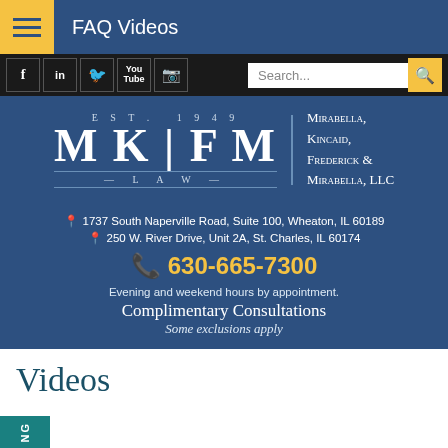FAQ Videos
[Figure (logo): MKFM Law logo - Mirabella, Kincaid, Frederick & Mirabella, LLC - Est. 1949]
1737 South Naperville Road, Suite 100, Wheaton, IL 60189
250 W. River Drive, Unit 2A, St. Charles, IL 60174
630-665-7300
Evening and weekend hours by appointment.
Complimentary Consultations
Some exclusions apply
Videos